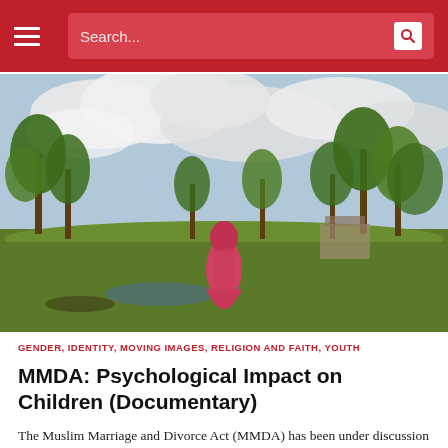Search...
[Figure (photo): A person wearing a long red/pink dress and headscarf standing in a green field with palm trees in the background under a cloudy sky.]
GENDER, IDENTITY, MOVING IMAGES, RELIGION AND FAITH, YOUTH
MMDA: Psychological Impact on Children (Documentary)
The Muslim Marriage and Divorce Act (MMDA) has been under discussion by various groups, commissions and governments